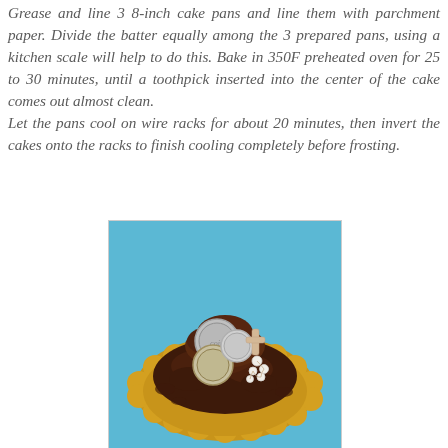Grease and line 3 8-inch cake pans and line them with parchment paper. Divide the batter equally among the 3 prepared pans, using a kitchen scale will help to do this. Bake in 350F preheated oven for 25 to 30 minutes, until a toothpick inserted into the center of the cake comes out almost clean.
Let the pans cool on wire racks for about 20 minutes, then invert the cakes onto the racks to finish cooling completely before frosting.
[Figure (photo): Overhead view of a chocolate frosted cake decorated with gold/silver coin decorations, a cross ornament, and pearl beads, sitting on a gold scalloped cake board, against a bright blue background.]